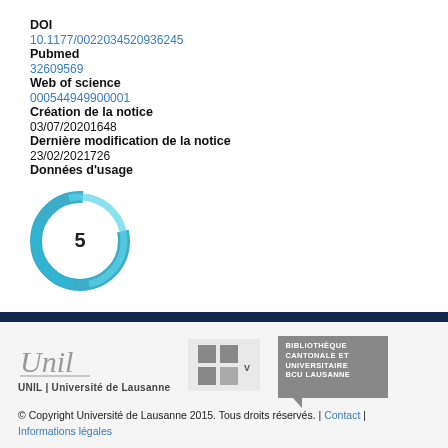DOI
10.1177/0022034520936245
Pubmed
32609569
Web of science
000544949900001
Création de la notice
03/07/20201648
Dernière modification de la notice
23/02/2021726
Données d'usage
[Figure (donut-chart): Donut chart showing usage count of 5, rendered in teal/blue swirl style]
© Copyright Université de Lausanne 2015. Tous droits réservés. | Contact | Informations légales